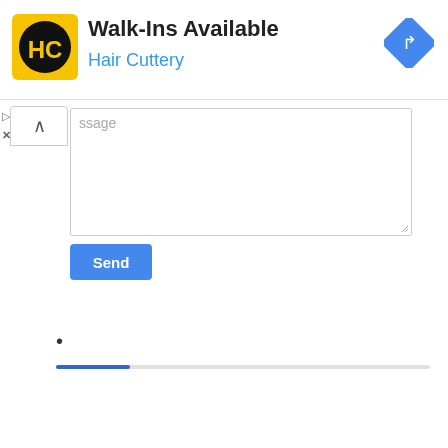[Figure (logo): Hair Cuttery HC logo — yellow square with black circle containing HC letters]
Walk-Ins Available
Hair Cuttery
[Figure (other): Blue diamond navigation/directions icon with white right-turn arrow]
ssage (placeholder text in message textarea)
Send
•
[Figure (other): Partial progress bar — blue filled section on left, grey remainder]